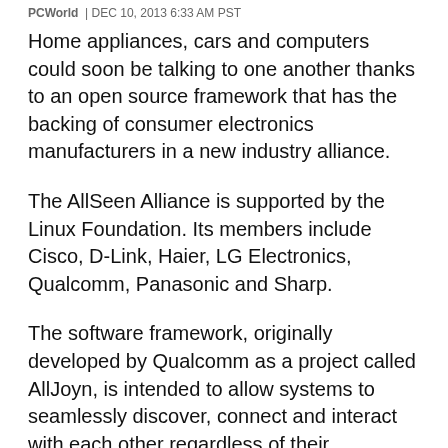PCWorld | DEC 10, 2013 6:33 AM PST
Home appliances, cars and computers could soon be talking to one another thanks to an open source framework that has the backing of consumer electronics manufacturers in a new industry alliance.
The AllSeen Alliance is supported by the Linux Foundation. Its members include Cisco, D-Link, Haier, LG Electronics, Qualcomm, Panasonic and Sharp.
The software framework, originally developed by Qualcomm as a project called AllJoyn, is intended to allow systems to seamlessly discover, connect and interact with each other regardless of their manufacturer or the operating system they are using, the Linux Foundation said. The alliance...